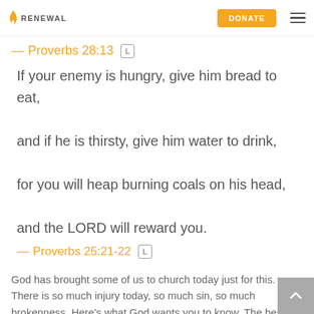RENEWAL | DONATE
—Proverbs 28:13 [L]
If your enemy is hungry, give him bread to eat, and if he is thirsty, give him water to drink, for you will heap burning coals on his head, and the LORD will reward you.
—Proverbs 25:21-22 [L]
God has brought some of us to church today just for this. There is so much injury today, so much sin, so much brokenness. Here's what God wants you to know. The best